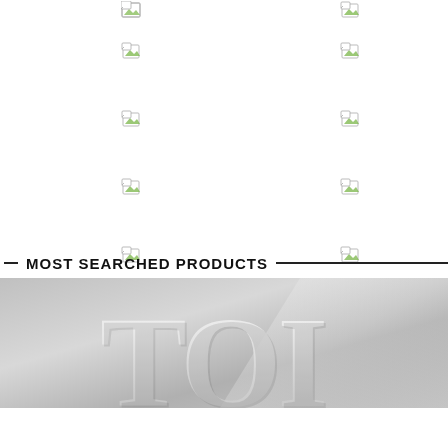[Figure (other): Grid of broken image placeholder icons arranged in two columns]
MOST SEARCHED PRODUCTS
[Figure (photo): Partial TOI (Times of India) logo in large serif text on gray gradient background]